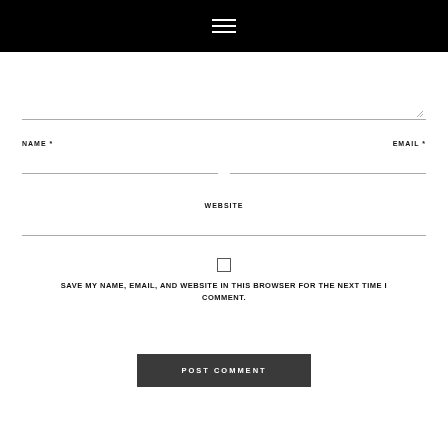[Figure (screenshot): Black navigation header bar with hamburger menu icon (three horizontal white lines) centered on black background]
[Comment textarea field with resize handle]
NAME *
EMAIL *
WEBSITE
SAVE MY NAME, EMAIL, AND WEBSITE IN THIS BROWSER FOR THE NEXT TIME I COMMENT.
POST COMMENT